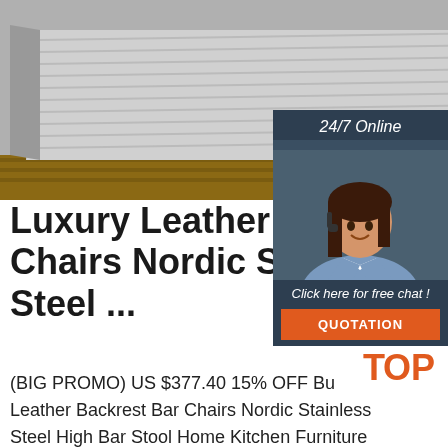[Figure (photo): Photo of stainless steel bar stools or metal tubes/bars stacked, showing ridged metallic surface on wooden pallet]
[Figure (infographic): 24/7 Online chat widget with woman wearing headset and 'Click here for free chat!' text, QUOTATION button]
Luxury Leather Backrest Bar Chairs Nordic Stainless Steel ...
(BIG PROMO) US $377.40 15% OFF Buy Luxury Leather Backrest Bar Chairs Nordic Stainless Steel High Bar Stool Home Kitchen Furniture Modern Dining Room Bar Stool From Merchant Decohome Store. Enjoy Free Shipping Worldwide. Limited Time Sale Easy Return. Shop Quality & Best Wholesale Directly From China Wholesale
[Figure (logo): TOP logo with orange dots arranged in triangle above the word TOP in orange]